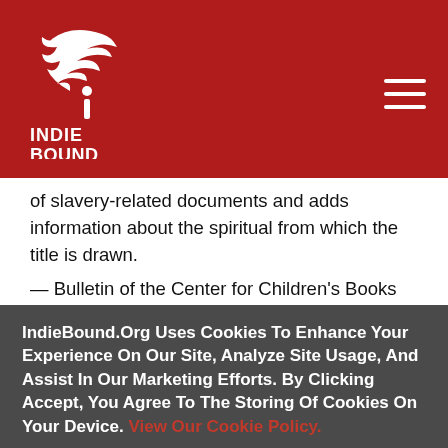[Figure (logo): IndieBound logo: white bird/hand illustration with text INDIE BOUND on dark red background, hamburger menu icon top right]
of slavery-related documents and adds information about the spiritual from which the title is drawn.
— Bulletin of the Center for Children's Books
A historical document dated July 5, 1828, lists the property to be sold from the Fairchilds' estate. Hogs.
IndieBound.Org Uses Cookies To Enhance Your Experience On Our Site, Analyze Site Usage, And Assist In Our Marketing Efforts. By Clicking Accept, You Agree To The Storing Of Cookies On Your Device. View Our Cookie Policy.
Give me more info
Accept all Cookies